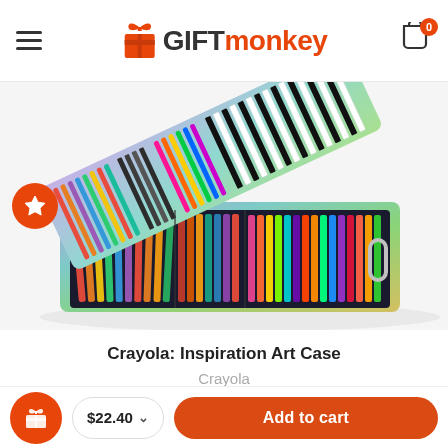GIFTmonkey — navigation header with hamburger menu and cart icon showing 0 items
[Figure (photo): Open Crayola Inspiration Art Case showing colorful crayons, markers, and pencils arranged in a rainbow-colored carrying case with a metal handle]
Crayola: Inspiration Art Case
Crayola
$22.40
Add to cart